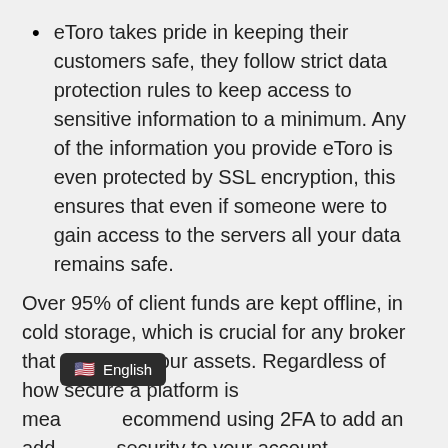eToro takes pride in keeping their customers safe, they follow strict data protection rules to keep access to sensitive information to a minimum. Any of the information you provide eToro is even protected by SSL encryption, this ensures that even if someone were to gain access to the servers all your data remains safe.
Over 95% of client funds are kept offline, in cold storage, which is crucial for any broker that manages your assets. Regardless of how secure a platform is mea… ecommend using 2FA to add an add… security to your account